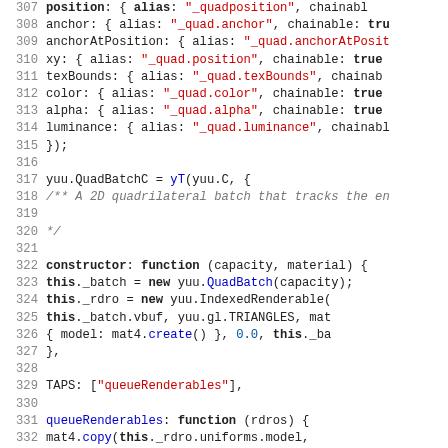[Figure (screenshot): Source code screenshot showing JavaScript code lines 307-339, with line numbers on the left, featuring syntax highlighting: red strings, blue identifiers/functions, bold keywords, gray comments, and black default code.]